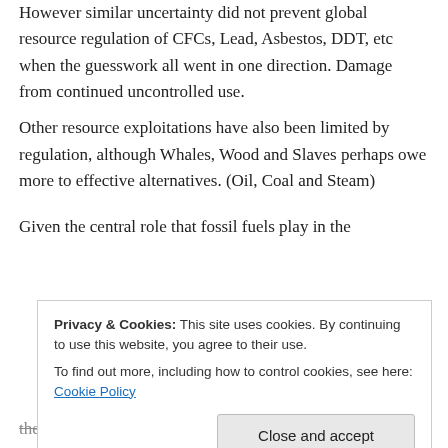However similar uncertainty did not prevent global resource regulation of CFCs, Lead, Asbestos, DDT, etc when the guesswork all went in one direction. Damage from continued uncontrolled use.
Other resource exploitations have also been limited by regulation, although Whales, Wood and Slaves perhaps owe more to effective alternatives. (Oil, Coal and Steam)
Given the central role that fossil fuels play in the ...
Privacy & Cookies: This site uses cookies. By continuing to use this website, you agree to their use. To find out more, including how to control cookies, see here: Cookie Policy
the game changer.